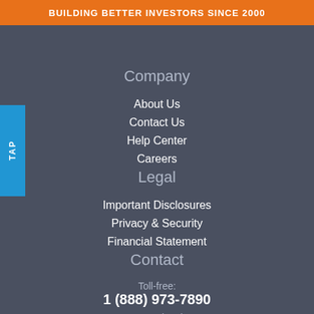BUILDING BETTER INVESTORS SINCE 2000
Company
About Us
Contact Us
Help Center
Careers
Legal
Important Disclosures
Privacy & Security
Financial Statement
Contact
Toll-free:
1 (888) 973-7890
International:
1 (703) 245-5772